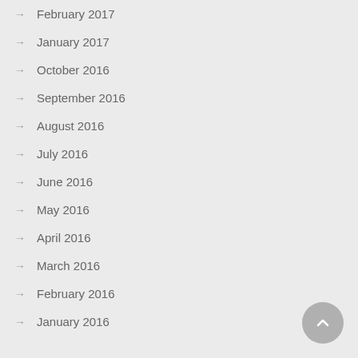February 2017
January 2017
October 2016
September 2016
August 2016
July 2016
June 2016
May 2016
April 2016
March 2016
February 2016
January 2016